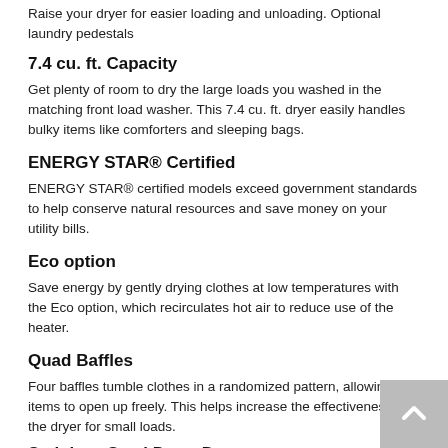Raise your dryer for easier loading and unloading. Optional laundry pedestals
7.4 cu. ft. Capacity
Get plenty of room to dry the large loads you washed in the matching front load washer. This 7.4 cu. ft. dryer easily handles bulky items like comforters and sleeping bags.
ENERGY STAR® Certified
ENERGY STAR® certified models exceed government standards to help conserve natural resources and save money on your utility bills.
Eco option
Save energy by gently drying clothes at low temperatures with the Eco option, which recirculates hot air to reduce use of the heater.
Quad Baffles
Four baffles tumble clothes in a randomized pattern, allowing items to open up freely. This helps increase the effectiveness of the dryer for small loads.
Stainless Steel Dryer Drum